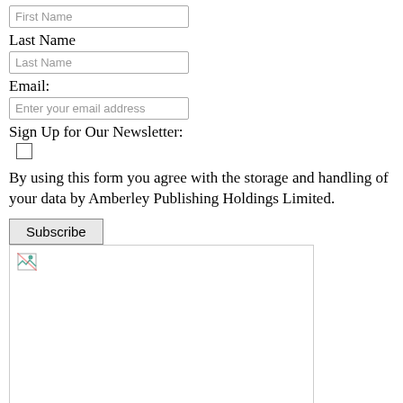First Name
Last Name
Last Name
Email:
Enter your email address
Sign Up for Our Newsletter:
By using this form you agree with the storage and handling of your data by Amberley Publishing Holdings Limited.
Subscribe
[Figure (photo): Broken image placeholder with a small broken image icon in the top-left corner, inside a rectangular bordered box]